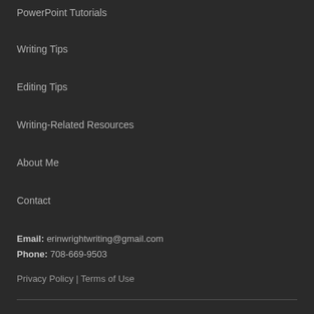PowerPoint Tutorials
Writing Tips
Editing Tips
Writing-Related Resources
About Me
Contact
Email: erinwrightwriting@gmail.com
Phone: 708-669-9503
Privacy Policy | Terms of Use